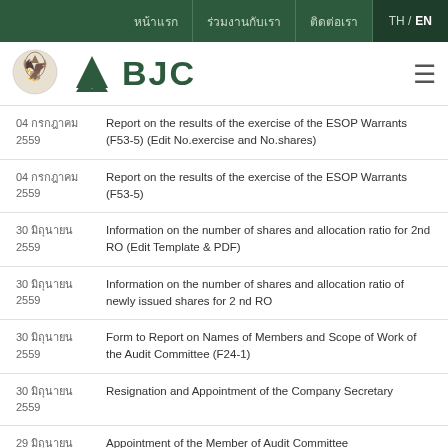หน้าแรก | ร่วมงานกับเรา | ติดต่อเรา | TH / EN
[Figure (logo): Thai government emblem and BJC logo with green triangle]
04 กรกฎาคม 2559 — Report on the results of the exercise of the ESOP Warrants (F53-5) (Edit No.exercise and No.shares)
04 กรกฎาคม 2559 — Report on the results of the exercise of the ESOP Warrants (F53-5)
30 มิถุนายน 2559 — Information on the number of shares and allocation ratio for 2nd RO (Edit Template & PDF)
30 มิถุนายน 2559 — Information on the number of shares and allocation ratio of newly issued shares for 2 nd RO
30 มิถุนายน 2559 — Form to Report on Names of Members and Scope of Work of the Audit Committee (F24-1)
30 มิถุนายน 2559 — Resignation and Appointment of the Company Secretary
29 มิถุนายน — Appointment of the Member of Audit Committee